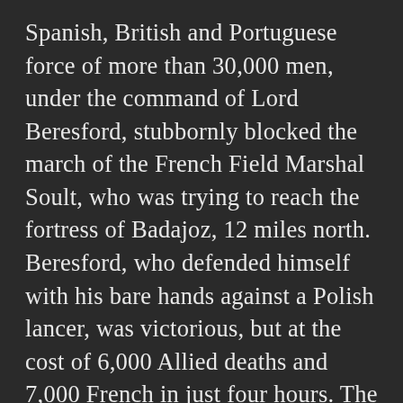Spanish, British and Portuguese force of more than 30,000 men, under the command of Lord Beresford, stubbornly blocked the march of the French Field Marshal Soult, who was trying to reach the fortress of Badajoz, 12 miles north. Beresford, who defended himself with his bare hands against a Polish lancer, was victorious, but at the cost of 6,000 Allied deaths and 7,000 French in just four hours. The battle is best known for the Fusilier Brigade's charge, made famous by Sir William Napier's melodramatic description, and because of the tenacity of the 57th Foot that earned them the nickname the 'Die Hards'. This compelling new book fills this gap by using authentic primary sources to tell the story of the battle as completely as possible and dispels long-standing myths. The